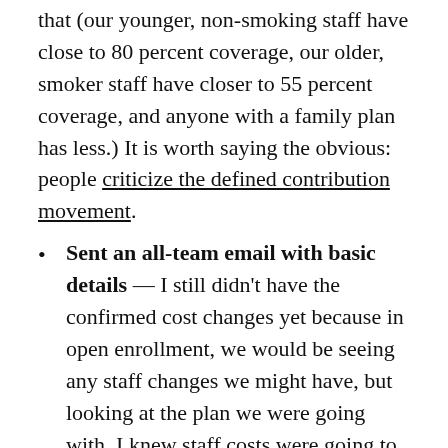that (our younger, non-smoking staff have close to 80 percent coverage, our older, smoker staff have closer to 55 percent coverage, and anyone with a family plan has less.) It is worth saying the obvious: people criticize the defined contribution movement.
Sent an all-team email with basic details — I still didn't have the confirmed cost changes yet because in open enrollment, we would be seeing any staff changes we might have, but looking at the plan we were going with, I knew staff costs were going to go up. This was news for our budget process, so I knew it would also be news to our staff. Once I was sure, I sent an all-team email detailing that with open enrollment would come the first time we'd ask staff to contribute to healthcare. I also attached our new plan and made clear that it was at least as comparable and in some ways stronger than our previous plan, so